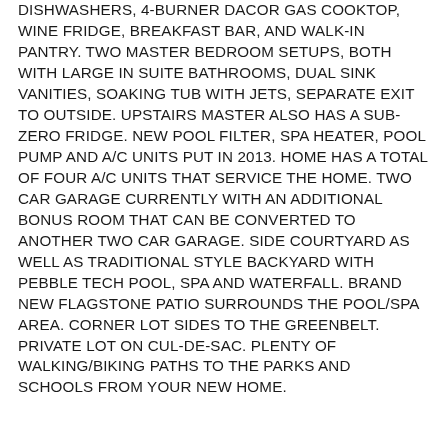DISHWASHERS, 4-BURNER DACOR GAS COOKTOP, WINE FRIDGE, BREAKFAST BAR, AND WALK-IN PANTRY. TWO MASTER BEDROOM SETUPS, BOTH WITH LARGE IN SUITE BATHROOMS, DUAL SINK VANITIES, SOAKING TUB WITH JETS, SEPARATE EXIT TO OUTSIDE. UPSTAIRS MASTER ALSO HAS A SUB-ZERO FRIDGE. NEW POOL FILTER, SPA HEATER, POOL PUMP AND A/C UNITS PUT IN 2013. HOME HAS A TOTAL OF FOUR A/C UNITS THAT SERVICE THE HOME. TWO CAR GARAGE CURRENTLY WITH AN ADDITIONAL BONUS ROOM THAT CAN BE CONVERTED TO ANOTHER TWO CAR GARAGE. SIDE COURTYARD AS WELL AS TRADITIONAL STYLE BACKYARD WITH PEBBLE TECH POOL, SPA AND WATERFALL. BRAND NEW FLAGSTONE PATIO SURROUNDS THE POOL/SPA AREA. CORNER LOT SIDES TO THE GREENBELT. PRIVATE LOT ON CUL-DE-SAC. PLENTY OF WALKING/BIKING PATHS TO THE PARKS AND SCHOOLS FROM YOUR NEW HOME.